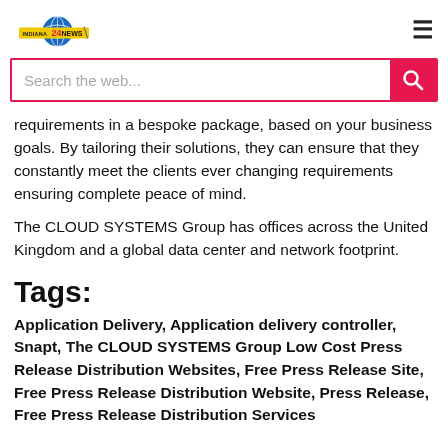Indiana 24 News
requirements in a bespoke package, based on your business goals. By tailoring their solutions, they can ensure that they constantly meet the clients ever changing requirements ensuring complete peace of mind.

The CLOUD SYSTEMS Group has offices across the United Kingdom and a global data center and network footprint.
Tags:
Application Delivery, Application delivery controller, Snapt, The CLOUD SYSTEMS Group Low Cost Press Release Distribution Websites, Free Press Release Site, Free Press Release Distribution Website, Press Release, Free Press Release Distribution Services